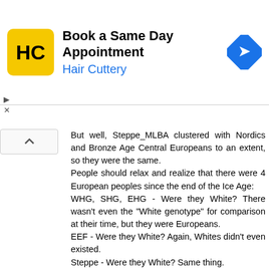[Figure (other): Hair Cuttery advertisement banner with logo (HC in yellow square), text 'Book a Same Day Appointment / Hair Cuttery', and blue navigation arrow icon]
But well, Steppe_MLBA clustered with Nordics and Bronze Age Central Europeans to an extent, so they were the same.
People should relax and realize that there were 4 European peoples since the end of the Ice Age:
WHG, SHG, EHG - Were they White? There wasn't even the "White genotype" for comparison at their time, but they were Europeans.
EEF - Were they White? Again, Whites didn't even existed.
Steppe - Were they White? Same thing.
Today Europeans - There are those whoe are, there are those who aren't. What's your definition?

Now, to the hypothetical question of Steppe_MLBA ganining Iran_N genes, would they be White?
I don't have the answer, but they would still be mainly Europeans, like Russians, or people of the Volga-Ural, just another flavour, another layer of European.